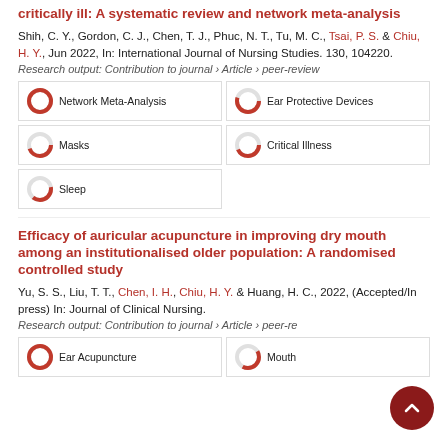critically ill: A systematic review and network meta-analysis
Shih, C. Y., Gordon, C. J., Chen, T. J., Phuc, N. T., Tu, M. C., Tsai, P. S. & Chiu, H. Y., Jun 2022, In: International Journal of Nursing Studies. 130, 104220.
Research output: Contribution to journal › Article › peer-review
| Network Meta-Analysis | Ear Protective Devices |
| Masks | Critical Illness |
| Sleep |  |
Efficacy of auricular acupuncture in improving dry mouth among an institutionalised older population: A randomised controlled study
Yu, S. S., Liu, T. T., Chen, I. H., Chiu, H. Y. & Huang, H. C., 2022, (Accepted/In press) In: Journal of Clinical Nursing.
Research output: Contribution to journal › Article › peer-review
| Ear Acupuncture | Mouth |